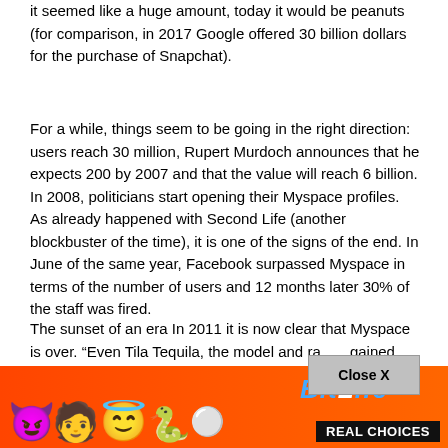it seemed like a huge amount, today it would be peanuts (for comparison, in 2017 Google offered 30 billion dollars for the purchase of Snapchat).
For a while, things seem to be going in the right direction: users reach 30 million, Rupert Murdoch announces that he expects 200 by 2007 and that the value will reach 6 billion. In 2008, politicians start opening their Myspace profiles. As already happened with Second Life (another blockbuster of the time), it is one of the signs of the end. In June of the same year, Facebook surpassed Myspace in terms of the number of users and 12 months later 30% of the staff was fired.
The sunset of an era In 2011 it is now clear that Myspace is over. “Even Tila Tequila, the model and ra gained fame by building a followi M anged sides. The ‘queen of My today prefe he time,
[Figure (screenshot): Next Article button (blue rounded rectangle), Close X button (gray), and BitLife ad banner at bottom with emojis, REAL CHOICES text]